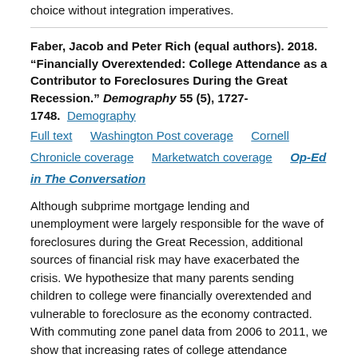choice without integration imperatives.
Faber, Jacob and Peter Rich (equal authors). 2018. "Financially Overextended: College Attendance as a Contributor to Foreclosures During the Great Recession." Demography 55 (5), 1727-1748. Demography  Full text   Washington Post coverage   Cornell Chronicle coverage   Marketwatch coverage   Op-Ed in The Conversation
Although subprime mortgage lending and unemployment were largely responsible for the wave of foreclosures during the Great Recession, additional sources of financial risk may have exacerbated the crisis. We hypothesize that many parents sending children to college were financially overextended and vulnerable to foreclosure as the economy contracted. With commuting zone panel data from 2006 to 2011, we show that increasing rates of college attendance...